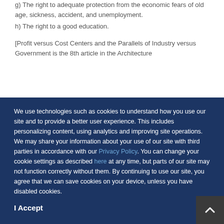g) The right to adequate protection from the economic fears of old age, sickness, accident, and unemployment.
h) The right to a good education.
[Profit versus Cost Centers and the Parallels of Industry versus Government is the 8th article in the Architecture
We use technologies such as cookies to understand how you use our site and to provide a better user experience. This includes personalizing content, using analytics and improving site operations. We may share your information about your use of our site with third parties in accordance with our Privacy Policy. You can change your cookie settings as described here at any time, but parts of our site may not function correctly without them. By continuing to use our site, you agree that we can save cookies on your device, unless you have disabled cookies.
I Accept